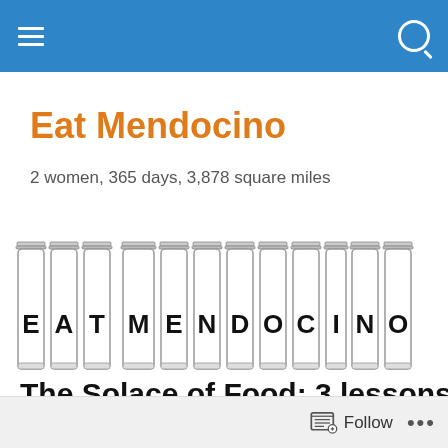Navigation bar with hamburger menu and search icon
Eat Mendocino
2 women, 365 days, 3,878 square miles
[Figure (illustration): Logo illustration showing the text EAT MENDOCINO spelled out in individual mason jars, one letter per jar, drawn in black and white line art style]
The Solace of Food: 3 lessons from my year as a locavore
Follow ...